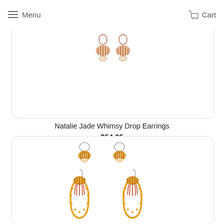Menu   Cart
[Figure (photo): Natalie Jade Whimsy Drop Earrings product photo — two small shell-shaped drop earrings in rose gold and white enamel with striped pattern]
Natalie Jade Whimsy Drop Earrings
$54.95
[Figure (photo): Second jewelry product — two pairs of earrings: top pair are small shell hoop earrings in gold/amber tones, bottom pair are large teardrop open hoop earrings in orange/gold with striped shell pattern]